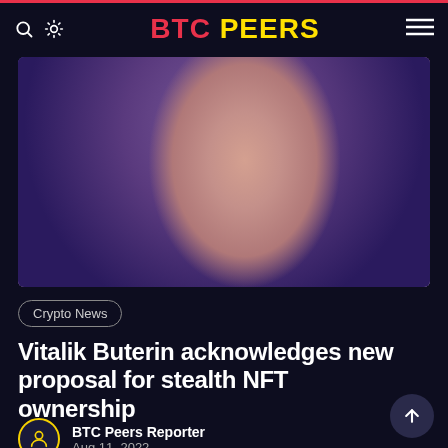BTC PEERS
[Figure (photo): Portrait photo of a young man with light brown hair against a purple-blue gradient background, appearing to be Vitalik Buterin]
Crypto News
Vitalik Buterin acknowledges new proposal for stealth NFT ownership
BTC Peers Reporter
Aug 11, 2022